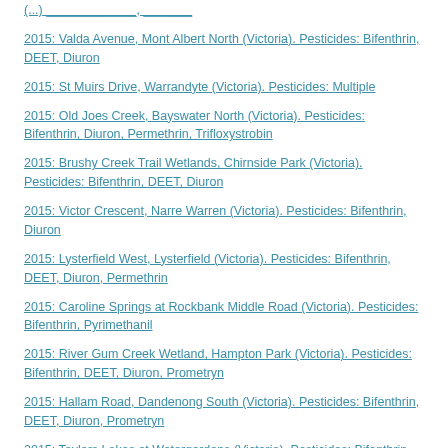2015: Valda Avenue, Mont Albert North (Victoria). Pesticides: Bifenthrin, DEET, Diuron
2015: St Muirs Drive, Warrandyte (Victoria). Pesticides: Multiple
2015: Old Joes Creek, Bayswater North (Victoria). Pesticides: Bifenthrin, Diuron, Permethrin, Trifloxystrobin
2015: Brushy Creek Trail Wetlands, Chirnside Park (Victoria). Pesticides: Bifenthrin, DEET, Diuron
2015: Victor Crescent, Narre Warren (Victoria). Pesticides: Bifenthrin, Diuron
2015: Lysterfield West, Lysterfield (Victoria). Pesticides: Bifenthrin, DEET, Diuron, Permethrin
2015: Caroline Springs at Rockbank Middle Road (Victoria). Pesticides: Bifenthrin, Pyrimethanil
2015: River Gum Creek Wetland, Hampton Park (Victoria). Pesticides: Bifenthrin, DEET, Diuron, Prometryn
2015: Hallam Road, Dandenong South (Victoria). Pesticides: Bifenthrin, DEET, Diuron, Prometryn
2015: Taylors Lakes at Watergardens (Victoria). Pesticides: Bifenthrin, Pyrimethanil